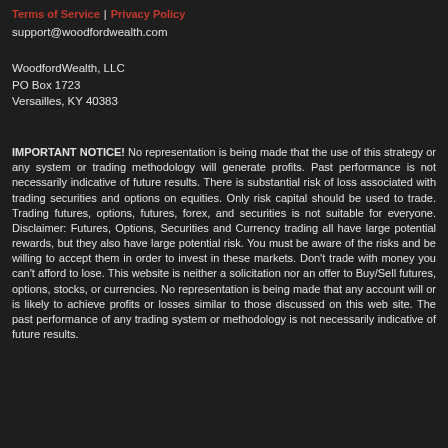Terms of Service | Privacy Policy
support@woodfordwealth.com
WoodfordWealth, LLC
PO Box 1723
Versailles, KY 40383
IMPORTANT NOTICE! No representation is being made that the use of this strategy or any system or trading methodology will generate profits. Past performance is not necessarily indicative of future results. There is substantial risk of loss associated with trading securities and options on equities. Only risk capital should be used to trade. Trading futures, options, futures, forex, and securities is not suitable for everyone. Disclaimer: Futures, Options, Securities and Currency trading all have large potential rewards, but they also have large potential risk. You must be aware of the risks and be willing to accept them in order to invest in these markets. Don't trade with money you can't afford to lose. This website is neither a solicitation nor an offer to Buy/Sell futures, options, stocks, or currencies. No representation is being made that any account will or is likely to achieve profits or losses similar to those discussed on this web site. The past performance of any trading system or methodology is not necessarily indicative of future results.